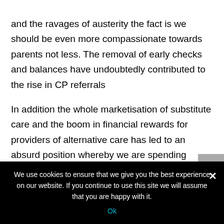and the ravages of austerity the fact is we should be even more compassionate towards parents not less. The removal of early checks and balances have undoubtedly contributed to the rise in CP referrals
In addition the whole marketisation of substitute care and the boom in financial rewards for providers of alternative care has led to an absurd position whereby we are spending colossal amounts on care costs whilst having refused financial assistance to hard pressed families.
We use cookies to ensure that we give you the best experience on our website. If you continue to use this site we will assume that you are happy with it.